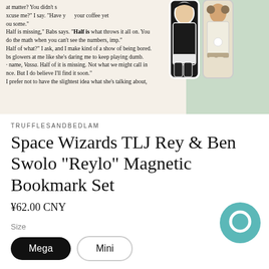[Figure (photo): Product photo showing two character bookmark figures (Space Wizards Rey and Ben Swolo) clipped onto a book page with visible text excerpts. Background is light green/mint.]
TRUFFLESANDBEDLAM
Space Wizards TLJ Rey & Ben Swolo "Reylo" Magnetic Bookmark Set
¥62.00 CNY
Size
Mega
Mini